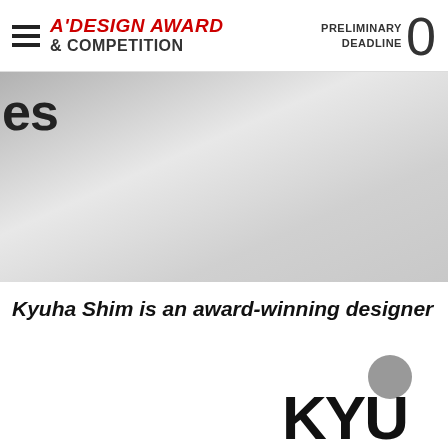A'DESIGN AWARD & COMPETITION | PRELIMINARY DEADLINE 0
[Figure (illustration): Gradient hero banner with partial text 'es' visible at top left, silver/grey gradient background]
Kyuha Shim is an award-winning designer
[Figure (logo): Partial logo at bottom right: grey circle above stylized letters KYU]